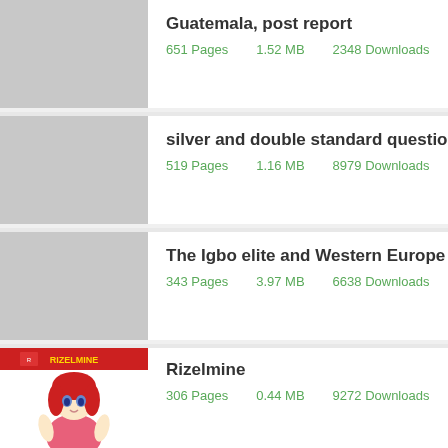Guatemala, post report
651 Pages    1.52 MB    2348 Downloads    Format: FB2
silver and double standard questions
519 Pages    1.16 MB    8979 Downloads    Format: FB2
The Igbo elite and Western Europe
343 Pages    3.97 MB    6638 Downloads    Format: FB2
[Figure (illustration): Anime manga cover art for Rizelmine showing a red-haired anime girl character]
Rizelmine
306 Pages    0.44 MB    9272 Downloads    Format: PDF/FB2